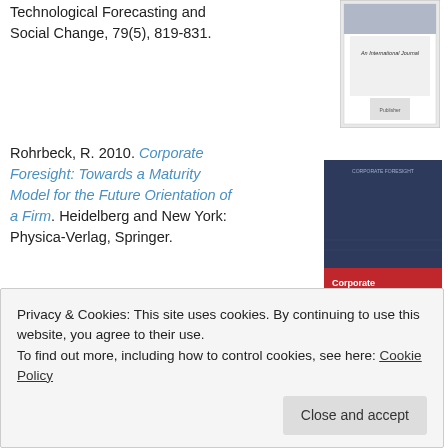Technological Forecasting and Social Change, 79(5), 819-831.
[Figure (photo): Journal cover for Technological Forecasting and Social Change, An International Journal]
Rohrbeck, R. 2010. Corporate Foresight: Towards a Maturity Model for the Future Orientation of a Firm. Heidelberg and New York: Physica-Verlag, Springer.
[Figure (photo): Book cover of Corporate Foresight: Towards a Maturity Model for the Future Orientation of a Firm by René Rohrbeck, published by Physica-Verlag Springer. Cover shows a dark blue image of people with a red panel at the bottom.]
Privacy & Cookies: This site uses cookies. By continuing to use this website, you agree to their use.
To find out more, including how to control cookies, see here: Cookie Policy
Close and accept